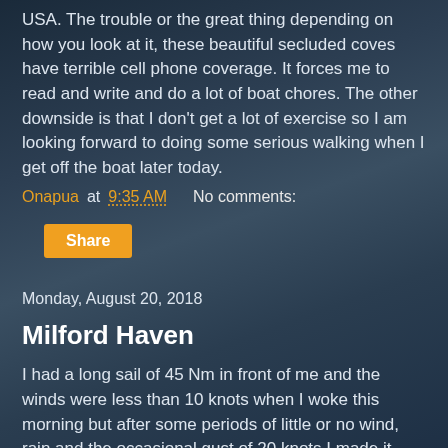USA. The trouble or the great thing depending on how you look at it, these beautiful secluded coves have terrible cell phone coverage. It forces me to read and write and do a lot of boat chores. The other downside is that I don't get a lot of exercise so I am looking forward to doing some serious walking when I get off the boat later today.
Onapua at 9:35 AM    No comments:
Share
Monday, August 20, 2018
Milford Haven
I had a long sail of 45 Nm in front of me and the winds were less than 10 knots when I woke this morning but after some periods of little or no wind, rain and the occasional gust of 20 knots I made it here. Phew! I did use the motor for about 40 minutes when the wind died and I had confused seas but other than that I had 10 hours of great sailing averaging 5 knots with the help of my oversized Genoa. This will be my